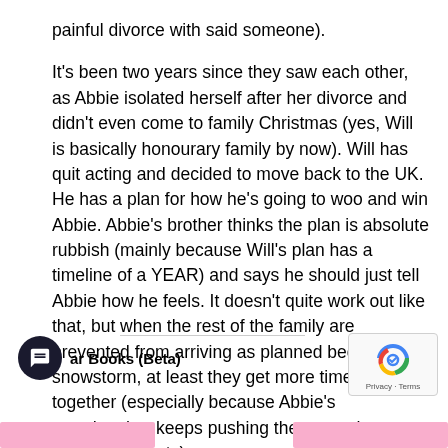painful divorce with said someone).
It's been two years since they saw each other, as Abbie isolated herself after her divorce and didn't even come to family Christmas (yes, Will is basically honourary family by now). Will has quit acting and decided to move back to the UK. He has a plan for how he's going to woo and win Abbie. Abbie's brother thinks the plan is absolute rubbish (mainly because Will's plan has a timeline of a YEAR) and says he should just tell Abbie how he feels. It doesn't quite work out like that, but when the rest of the family are prevented from arriving as planned because of a snowstorm, at least they get more time alone together (especially because Abbie's grandmother keeps pushing them together every chance she gets).
Read the rest here.
ar Books (Beta)